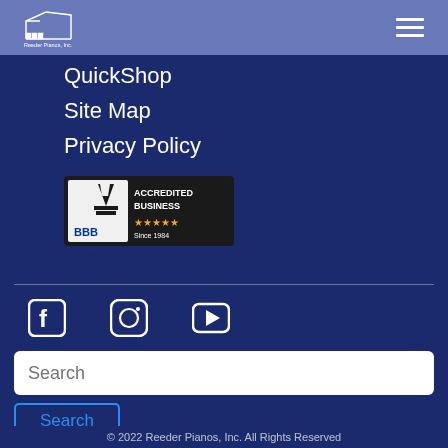Reeder Pianos, Inc. — navigation header with logo and hamburger menu
QuickShop
Site Map
Privacy Policy
[Figure (logo): BBB Accredited Business badge with 'Click for Profile' text below]
[Figure (infographic): Social media icons: Facebook, Instagram, YouTube]
Search
Search (button)
Contact Us
© 2022 Reeder Pianos, Inc. All Rights Reserved